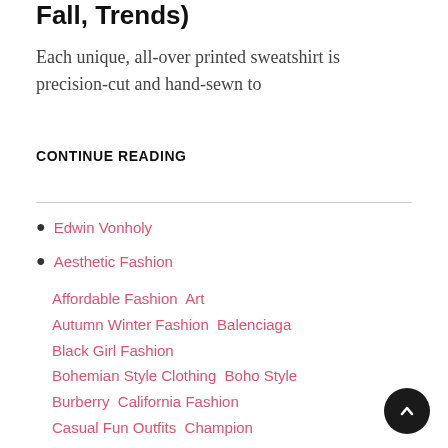Fall, Trends)
Each unique, all-over printed sweatshirt is precision-cut and hand-sewn to
CONTINUE READING
Edwin Vonholy
Aesthetic Fashion
Affordable Fashion  Art  Autumn Winter Fashion  Balenciaga  Black Girl Fashion  Bohemian Style Clothing  Boho Style  Burberry  California Fashion  Casual Fun Outfits  Champion  Chanel  Chicano Fashion  Chicos Fashion  Couture Fashion  Dior  Dream Closets